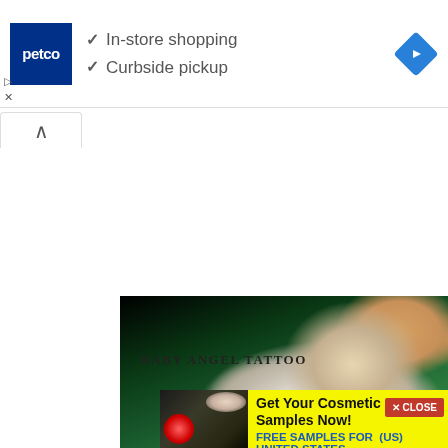[Figure (screenshot): Petco advertisement banner with logo, checkmarks for 'In-store shopping' and 'Curbside pickup', and a blue navigation arrow icon]
[Figure (photo): Close-up photo of a ceramic angel figurine in green with white wings and golden hair, cropped tightly]
BABY ANGEL TATTOO
[Figure (photo): Photo of a small porcelain baby angel figurine with gray wings against a gray background]
[Figure (screenshot): Bottom advertisement banner: 'Get Your Cosmetic Samples Now! FREE SAMPLES FOR (US) UNITED STATES' on yellow background with cosmetic image]